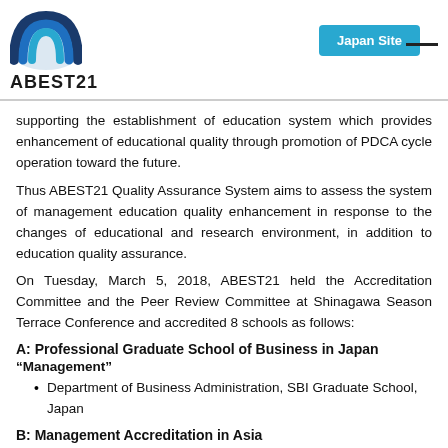ABEST21 | Japan Site
supporting the establishment of education system which provides enhancement of educational quality through promotion of PDCA cycle operation toward the future.
Thus ABEST21 Quality Assurance System aims to assess the system of management education quality enhancement in response to the changes of educational and research environment, in addition to education quality assurance.
On Tuesday, March 5, 2018, ABEST21 held the Accreditation Committee and the Peer Review Committee at Shinagawa Season Terrace Conference and accredited 8 schools as follows:
A: Professional Graduate School of Business in Japan
“Management”
Department of Business Administration, SBI Graduate School, Japan
B: Management Accreditation in Asia